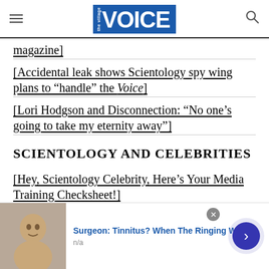the Village VOICE
[magazine]
[Accidental leak shows Scientology spy wing plans to “handle” the Voice]
[Lori Hodgson and Disconnection: “No one’s going to take my eternity away”]
SCIENTOLOGY AND CELEBRITIES
[Hey, Scientology Celebrity, Here’s Your Media Training Checksheet!]
[Figure (screenshot): Advertisement banner at bottom of page: photo of a person, text 'Surgeon: Tinnitus? When The Ringing Won’t', subtext 'n/a', close button (x), and blue arrow button]